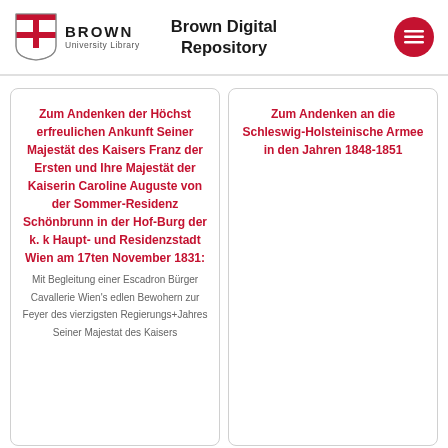Brown University Library — Brown Digital Repository
Zum Andenken der Höchst erfreulichen Ankunft Seiner Majestät des Kaisers Franz der Ersten und Ihre Majestät der Kaiserin Caroline Auguste von der Sommer-Residenz Schönbrunn in der Hof-Burg der k. k Haupt- und Residenzstadt Wien am 17ten November 1831: Mit Begleitung einer Escadron Bürger Cavallerie Wien's edlen Bewohern zur Feyer des vierzigsten Regierungs+Jahres Seiner Majestat des Kaisers
Zum Andenken an die Schleswig-Holsteinische Armee in den Jahren 1848-1851